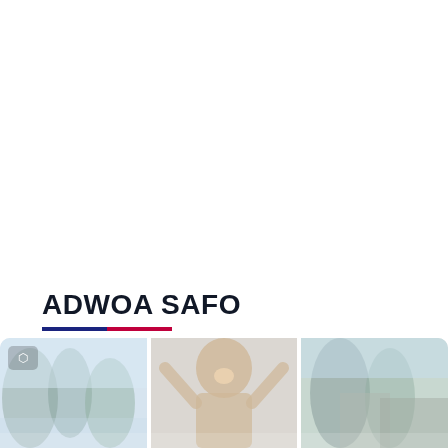ADWOA SAFO
[Figure (photo): Strip of three photos at the bottom of the page: left photo shows trees and sky, center photo shows a smiling woman with arms raised, right photo shows outdoor scene with trees and buildings. The strip is partially cut off at the bottom.]